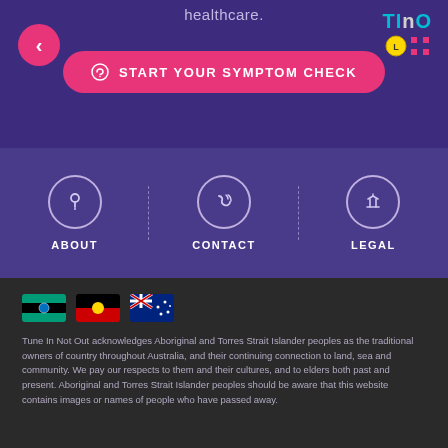healthcare.
[Figure (screenshot): Back button (pink circle with left arrow) and START YOUR SYMPTOM CHECK button (pink rounded rectangle) and TINO logo (teal and white letters)]
[Figure (infographic): Navigation menu with three items: ABOUT (question mark icon), CONTACT (phone icon), LEGAL (scales icon), separated by dashed vertical lines]
[Figure (illustration): Three flag icons: Torres Strait Islander flag, Aboriginal flag, Australian flag]
Tune In Not Out acknowledges Aboriginal and Torres Strait Islander peoples as the traditional owners of country throughout Australia, and their continuing connection to land, sea and community. We pay our respects to them and their cultures, and to elders both past and present. Aboriginal and Torres Strait Islander peoples should be aware that this website contains images or names of people who have passed away.
[Figure (logo): Lions Club circular badge at bottom center]